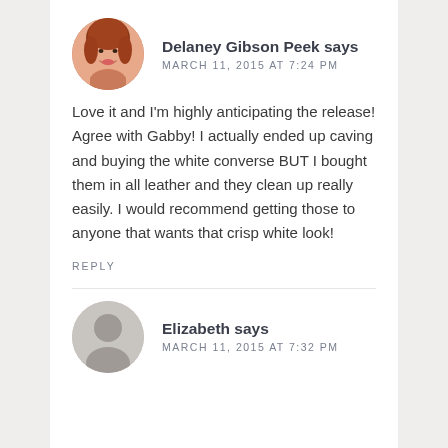[Figure (illustration): Circular avatar photo of a woman with red/auburn hair, smiling, on a white background]
Delaney Gibson Peek says
MARCH 11, 2015 AT 7:24 PM
Love it and I'm highly anticipating the release! Agree with Gabby! I actually ended up caving and buying the white converse BUT I bought them in all leather and they clean up really easily. I would recommend getting those to anyone that wants that crisp white look!
REPLY
[Figure (illustration): Circular gray avatar silhouette placeholder for user without a photo]
Elizabeth says
MARCH 11, 2015 AT 7:32 PM